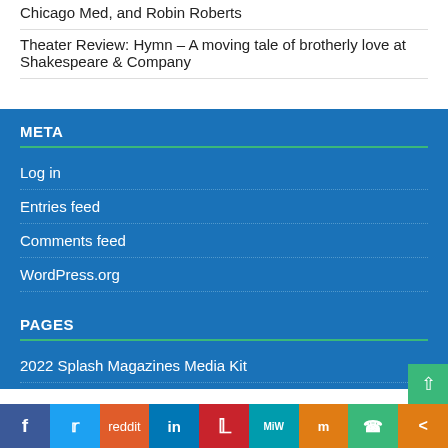Chicago Med, and Robin Roberts
Theater Review: Hymn – A moving tale of brotherly love at Shakespeare & Company
META
Log in
Entries feed
Comments feed
WordPress.org
PAGES
2022 Splash Magazines Media Kit
Facebook Twitter Reddit LinkedIn Pinterest MeWe Mix WhatsApp Share